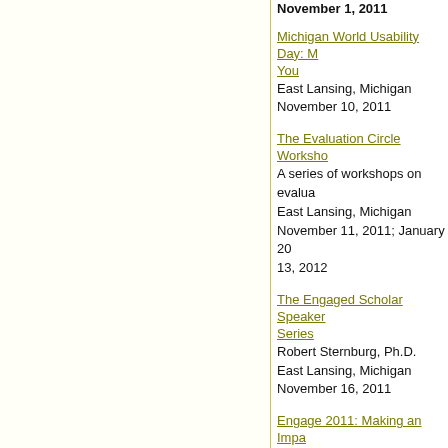Michigan World Usability Day: M... You
East Lansing, Michigan
November 10, 2011
The Evaluation Circle Workshop
A series of workshops on evalua...
East Lansing, Michigan
November 11, 2011; January 20 13, 2012
The Engaged Scholar Speaker Series
Robert Sternburg, Ph.D.
East Lansing, Michigan
November 16, 2011
Engage 2011: Making an Impac...
Bristol, United Kingdom
November 29-30, 2011
MSU Library Environmental Se...
East Lansing, Michigan
November 29, 2011
MSU College of Engineering De...
East Lansing, Michigan
December 9, 2011